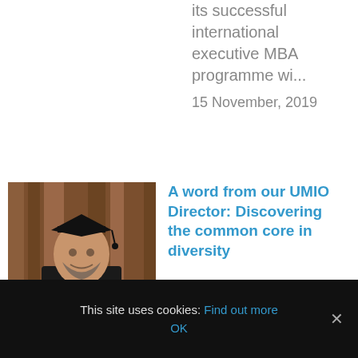its successful international executive MBA programme wi...
15 November, 2019
[Figure (photo): Portrait photo of a man in graduation cap and gown holding a diploma, against a wooden background]
A word from our UMIO Director: Discovering the common core in diversity
I love to travel. From the hurried excitement and mild annoyances at
This site uses cookies: Find out more OK